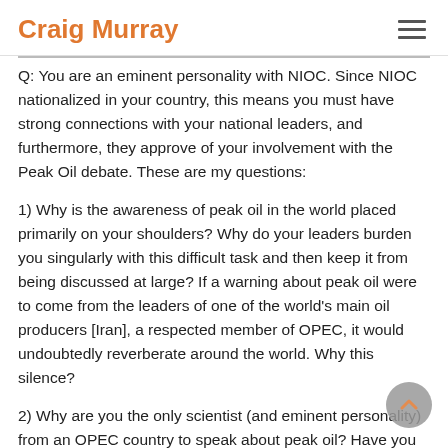Craig Murray
Q: You are an eminent personality with NIOC. Since NIOC nationalized in your country, this means you must have strong connections with your national leaders, and furthermore, they approve of your involvement with the Peak Oil debate. These are my questions:
1) Why is the awareness of peak oil in the world placed primarily on your shoulders? Why do your leaders burden you singularly with this difficult task and then keep it from being discussed at large? If a warning about peak oil were to come from the leaders of one of the world's main oil producers [Iran], a respected member of OPEC, it would undoubtedly reverberate around the world. Why this silence?
2) Why are you the only scientist (and eminent personality) from an OPEC country to speak about peak oil? Have you ever asked yourself this? I'm sure if you know about peak oil, then your colleagues in Saudi Arabia or Venezuela must be aware as well. Do you know why your country is the only one allowing one of its